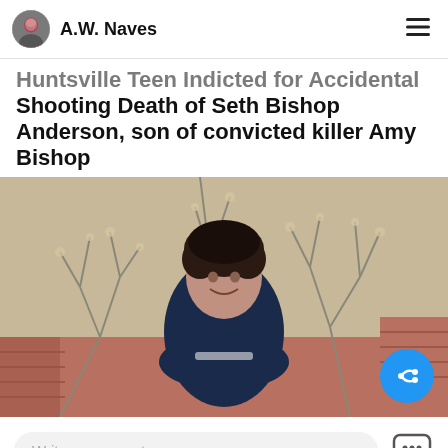A.W. Naves
Huntsville Teen Indicted for Accidental Shooting Death of Seth Bishop Anderson, son of convicted killer Amy Bishop
[Figure (photo): Young man with curly dark hair wearing a dark blue hoodie, arms crossed, smiling, standing in front of bare winter trees and a brick wall background.]
Write a comment...